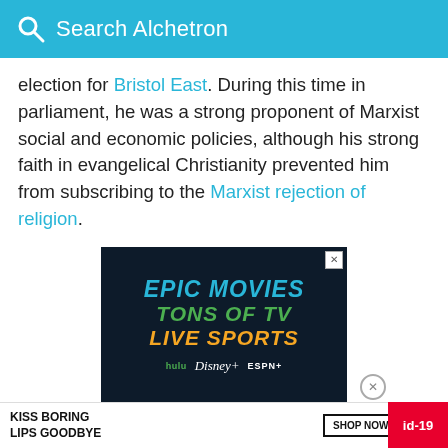Search Alchetron
election for Bristol East. During this time in parliament, he was a strong proponent of Marxist social and economic policies, although his strong faith in evangelical Christianity prevented him from subscribing to the Marxist rejection of religion.
[Figure (screenshot): Advertisement for Hulu, Disney+, and ESPN+ streaming services. Dark navy background with text: EPIC MOVIES (blue), TONS OF TV (green), LIVE SPORTS (yellow/orange). Logos for hulu, Disney+, and ESPN+ shown at bottom.]
[Figure (screenshot): Bottom banner ad for Macy's: 'KISS BORING LIPS GOODBYE', SHOP NOW button, Macy's star logo. Red tag on right side showing 'id-19'.]